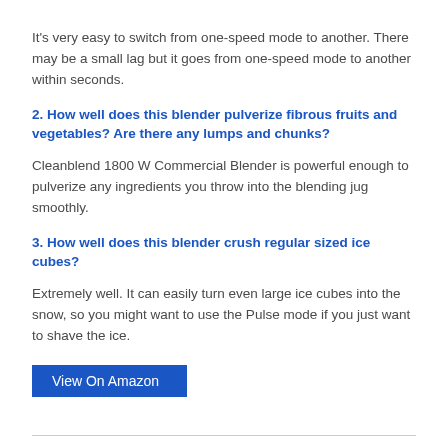It's very easy to switch from one-speed mode to another. There may be a small lag but it goes from one-speed mode to another within seconds.
2. How well does this blender pulverize fibrous fruits and vegetables? Are there any lumps and chunks?
Cleanblend 1800 W Commercial Blender is powerful enough to pulverize any ingredients you throw into the blending jug smoothly.
3. How well does this blender crush regular sized ice cubes?
Extremely well. It can easily turn even large ice cubes into the snow, so you might want to use the Pulse mode if you just want to shave the ice.
[Figure (other): Blue 'View On Amazon' button]